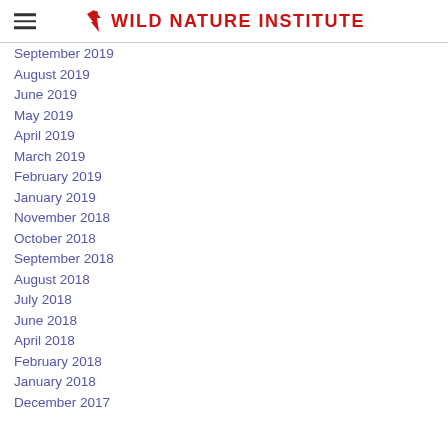Wild Nature Institute
September 2019
August 2019
June 2019
May 2019
April 2019
March 2019
February 2019
January 2019
November 2018
October 2018
September 2018
August 2018
July 2018
June 2018
April 2018
February 2018
January 2018
December 2017